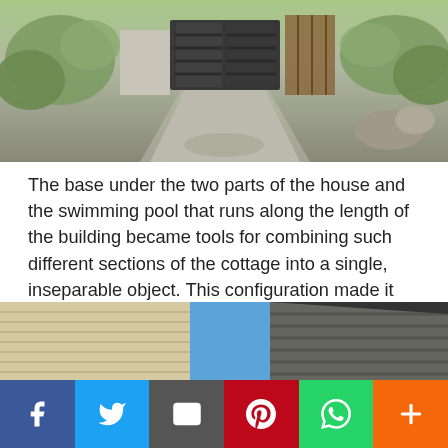[Figure (photo): Exterior driveway leading to a house with dark garage gate, flanked by greenery and rocks]
The base under the two parts of the house and the swimming pool that runs along the length of the building became tools for combining such different sections of the cottage into a single, inseparable object. This configuration made it possible to equip the house with two small private gardens at once. In addition, living spaces receive high-quality ventilation and are optimally illuminated by the sun.
[Figure (photo): Architectural detail showing two building facades with blue sky between them, light wood cladding on the left and dark metal cladding on the right]